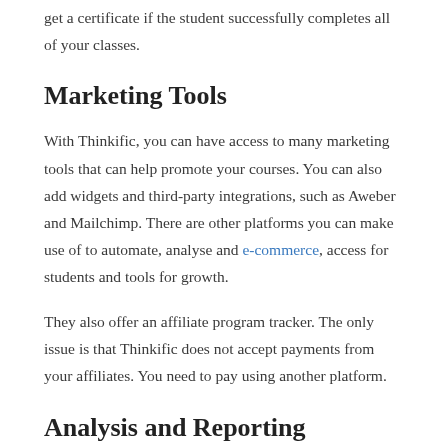get a certificate if the student successfully completes all of your classes.
Marketing Tools
With Thinkific, you can have access to many marketing tools that can help promote your courses. You can also add widgets and third-party integrations, such as Aweber and Mailchimp. There are other platforms you can make use of to automate, analyse and e-commerce, access for students and tools for growth.
They also offer an affiliate program tracker. The only issue is that Thinkific does not accept payments from your affiliates. You need to pay using another platform.
Analysis and Reporting
Getting insights about your class can assist you in improving the course so that your students can benefit from it. It will help you